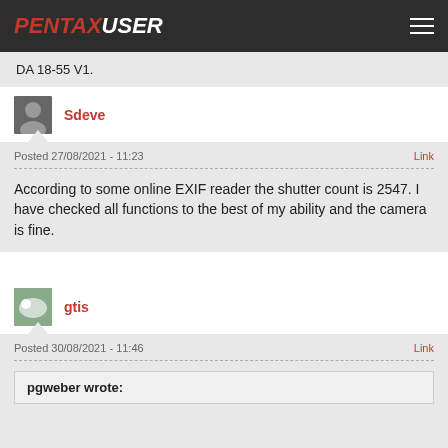PENTAXUSER
DA 18-55 V1.
Sdeve
Posted 27/08/2021 - 11:23
According to some online EXIF reader the shutter count is 2547. I have checked all functions to the best of my ability and the camera is fine.
gtis
Posted 30/08/2021 - 11:46
pgweber wrote: